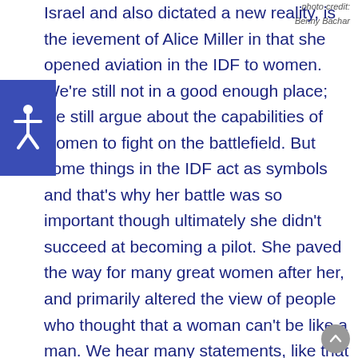[Figure (other): Partial image visible at top right corner, with photo credit: Benny Bachar]
photo credit:
Benny Bachar
Israel and also dictated a new reality, is the [ach]ievement of Alice Miller in that she opened aviation in the IDF to women. We're still not in a good enough place; we still argue about the capabilities of women to fight on the battlefield. But some things in the IDF act as symbols and that's why her battle was so important though ultimately she didn't succeed at becoming a pilot. She paved the way for many great women after her, and primarily altered the view of people who thought that a woman can't be like a man. We hear many statements, like that of Rav Sadan from the pre-military...